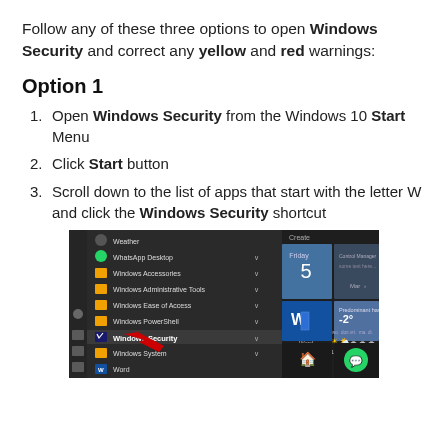Follow any of these three options to open Windows Security and correct any yellow and red warnings:
Option 1
Open Windows Security from the Windows 10 Start Menu
Click Start button
Scroll down to the list of apps that start with the letter W and click the Windows Security shortcut
[Figure (screenshot): Screenshot of Windows 10 Start Menu showing a list of apps starting with W: Weather, WhatsApp Desktop, Windows Accessories, Windows Administrative Tools, Windows Ease of Access, Windows PowerShell, Windows Security (highlighted), Windows System, Word. On the right side are live tiles including a calendar showing Friday 5, Word tile, a weather tile showing -2 degrees, and WhatsApp icon. A red arrow points to Windows Security in the list.]